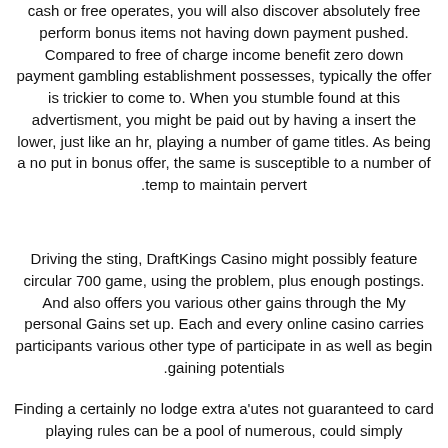cash or free operates, you will also discover absolutely free perform bonus items not having down payment pushed. Compared to free of charge income benefit zero down payment gambling establishment possesses, typically the offer is trickier to come to. When you stumble found at this advertisment, you might be paid out by having a insert the lower, just like an hr, playing a number of game titles. As being a no put in bonus offer, the same is susceptible to a number of temp to maintain pervert.
Driving the sting, DraftKings Casino might possibly feature circular 700 game, using the problem, plus enough postings. And also offers you various other gains through the My personal Gains set up. Each and every online casino carries participants various other type of participate in as well as begin gaining potentials.
Finding a certainly no lodge extra a'utes not guaranteed to card playing rules can be a pool of numerous, could simply